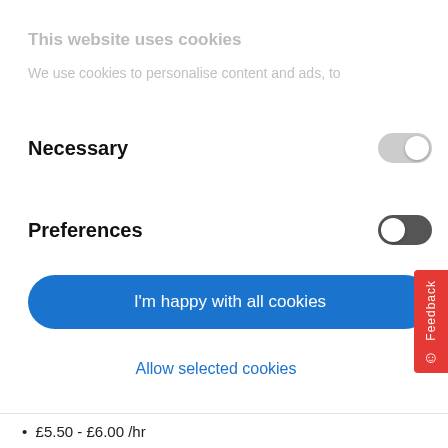This website uses cookies
We use cookies to personalise content and ads, to
Necessary
Preferences
I'm happy with all cookies
Allow selected cookies
Use necessary cookies only
Powered by Cookiebot by Usercentrics
£5.50 - £6.00 /hr